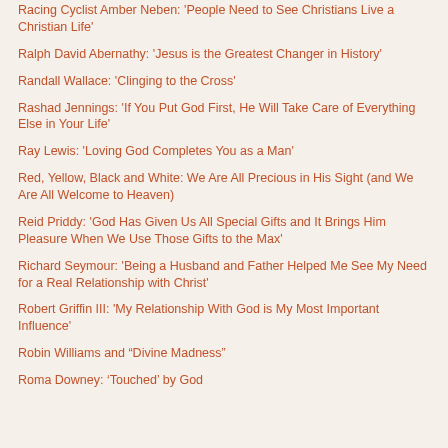Racing Cyclist Amber Neben: 'People Need to See Christians Live a Christian Life'
Ralph David Abernathy: 'Jesus is the Greatest Changer in History'
Randall Wallace: 'Clinging to the Cross'
Rashad Jennings: 'If You Put God First, He Will Take Care of Everything Else in Your Life'
Ray Lewis: 'Loving God Completes You as a Man'
Red, Yellow, Black and White: We Are All Precious in His Sight (and We Are All Welcome to Heaven)
Reid Priddy: 'God Has Given Us All Special Gifts and It Brings Him Pleasure When We Use Those Gifts to the Max'
Richard Seymour: 'Being a Husband and Father Helped Me See My Need for a Real Relationship with Christ'
Robert Griffin III: 'My Relationship With God is My Most Important Influence'
Robin Williams and “Divine Madness”
Roma Downey: ‘Touched’ by God